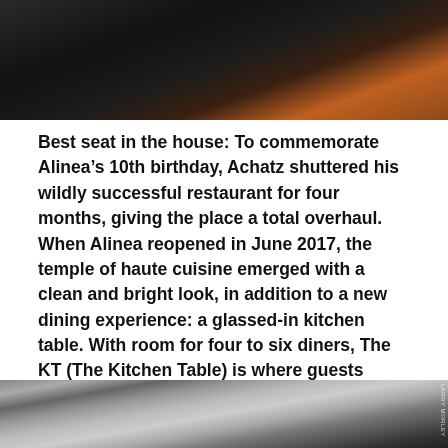[Figure (photo): Dark photo of a person or food, dimly lit with warm orange/amber tones visible]
Best seat in the house: To commemorate Alinea’s 10th birthday, Achatz shuttered his wildly successful restaurant for four months, giving the place a total overhaul. When Alinea reopened in June 2017, the temple of haute cuisine emerged with a clean and bright look, in addition to a new dining experience: a glassed-in kitchen table. With room for four to six diners, The KT (The Kitchen Table) is where guests embark on a lengthy bespoke menu, often with more than 22 courses with interaction with chefs encouraged.
[Figure (photo): Photo of people dining or chefs in a restaurant setting, partially visible at the bottom of the page]